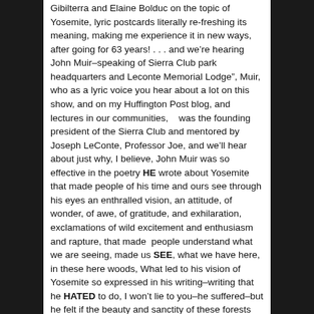Gibilterra and Elaine Bolduc on the topic of Yosemite, lyric postcards literally re-freshing its meaning, making me experience it in new ways, after going for 63 years! . . . and weâre hearing John Muirâspeaking of Sierra Club park headquarters and Leconte Memorial Lodgeâ, Muir, who as a lyric voice you hear about a lot on this show, and on my Huffington Post blog, and lectures in our communities,Â  Â  was the founding president of the Sierra Club and mentored by Joseph LeConte, Professor Joe, and weâll hear about just why, I believe, John Muir was so effective in the poetry HE wrote about Yosemite that made people of his time and ours see through his eyes an enthralled vision, an attitude, of wonder, of awe, of gratitude, and exhilaration,Â  Â  exclamations of wild excitement and enthusiasm and rapture, that madeÂ  people understand what we are seeing, made us SEE, what we have here, in these here woods, What led to his vision of Yosemite so expressed in his writingâwriting that he HATED to do, I wonât lie to youâhe sufferedâbut he felt if the beauty and sanctity of these forests were to be preserved people had to see itÂ  Â  his wayâwith happiness and love . . . and there